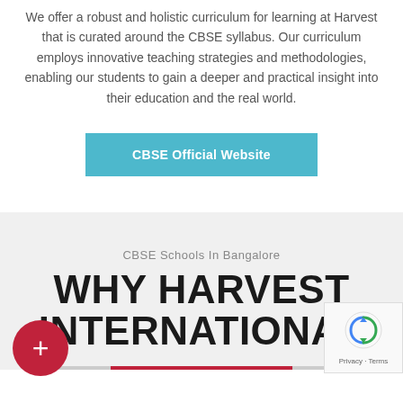We offer a robust and holistic curriculum for learning at Harvest that is curated around the CBSE syllabus. Our curriculum employs innovative teaching strategies and methodologies, enabling our students to gain a deeper and practical insight into their education and the real world.
CBSE Official Website
CBSE Schools In Bangalore
WHY HARVEST INTERNATIONAL